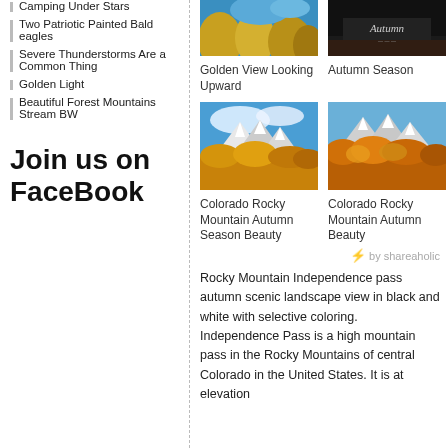Camping Under Stars
Two Patriotic Painted Bald eagles
Severe Thunderstorms Are a Common Thing
Golden Light
Beautiful Forest Mountains Stream BW
Join us on FaceBook
[Figure (photo): Golden View Looking Upward - trees with blue sky]
Golden View Looking Upward
[Figure (photo): Autumn Season book/album cover]
Autumn Season
[Figure (photo): Colorado Rocky Mountain autumn foliage with snow-capped peaks]
Colorado Rocky Mountain Autumn Season Beauty
[Figure (photo): Colorado Rocky Mountain autumn orange foliage]
Colorado Rocky Mountain Autumn Beauty
⚡ by shareaholic
Rocky Mountain Independence pass autumn scenic landscape view in black and white with selective coloring. Independence Pass is a high mountain pass in the Rocky Mountains of central Colorado in the United States. It is at elevation